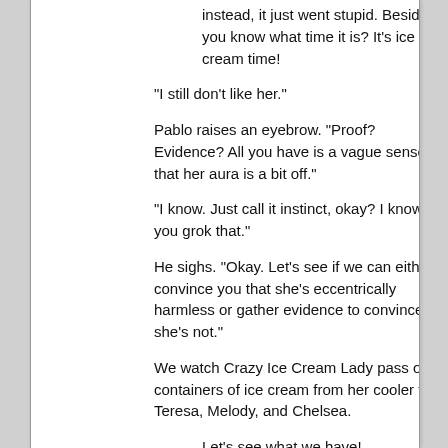instead, it just went stupid. Besides, you know what time it is? It's ice cream time!
"I still don't like her."
Pablo raises an eyebrow. "Proof? Evidence? All you have is a vague sense that her aura is a bit off."
"I know. Just call it instinct, okay? I know you grok that."
He sighs. "Okay. Let's see if we can either convince you that she's eccentrically harmless or gather evidence to convince me she's not."
We watch Crazy Ice Cream Lady pass out containers of ice cream from her cooler to Teresa, Melody, and Chelsea.
Let's see what we have!